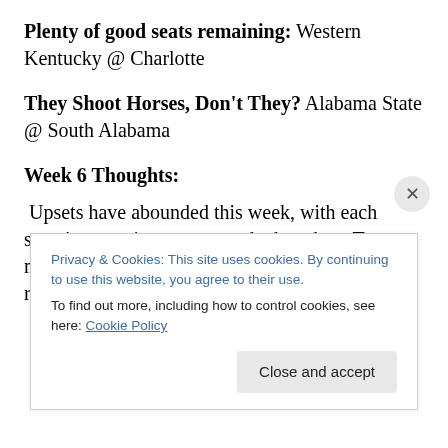Plenty of good seats remaining: Western Kentucky @ Charlotte
They Shoot Horses, Don't They?  Alabama State @ South Alabama
Week 6 Thoughts:
Upsets have abounded this week, with each surprise seeming to supersede the other.  Texas made its presence known by toppling yet another ranked opponent, this time
Privacy & Cookies: This site uses cookies. By continuing to use this website, you agree to their use.
To find out more, including how to control cookies, see here: Cookie Policy